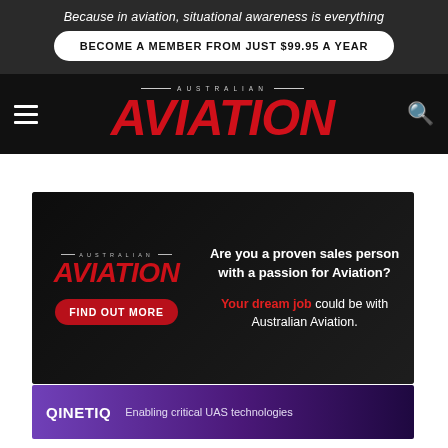Because in aviation, situational awareness is everything
BECOME A MEMBER FROM JUST $99.95 A YEAR
[Figure (logo): Australian Aviation logo with AUSTRALIAN text above and AVIATION in large red italic bold font]
[Figure (infographic): Advertisement for Australian Aviation job: 'Are you a proven sales person with a passion for Aviation? Your dream job could be with Australian Aviation.' with FIND OUT MORE button and Australian Aviation logo on dark background]
[Figure (infographic): QinetiQ advertisement: Enabling critical UAS technologies, purple gradient background with drone imagery]
VIRGIN A...
August